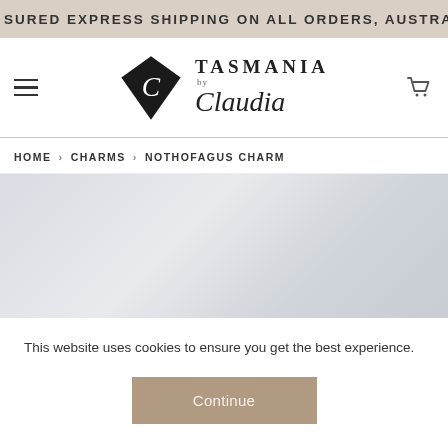SURED EXPRESS SHIPPING ON ALL ORDERS, AUSTRALIA
[Figure (logo): Tasmania by Claudia logo with diamond shape and cursive text]
HOME › CHARMS › NOTHOFAGUS CHARM
[Figure (photo): Light grey/blue product image placeholder]
This website uses cookies to ensure you get the best experience.
Continue